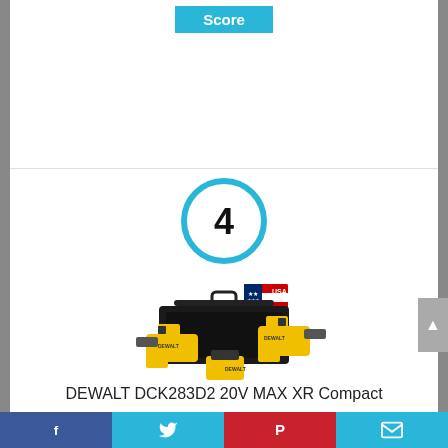Score
[Figure (other): Score number 4 inside a light blue circle]
[Figure (photo): DEWALT DCK283D2 20V MAX XR Compact power tool kit with yellow and black drills in a bag, with USA flag badge]
DEWALT DCK283D2 20V MAX XR Compact
Facebook | Twitter | Pinterest | Email social share bar